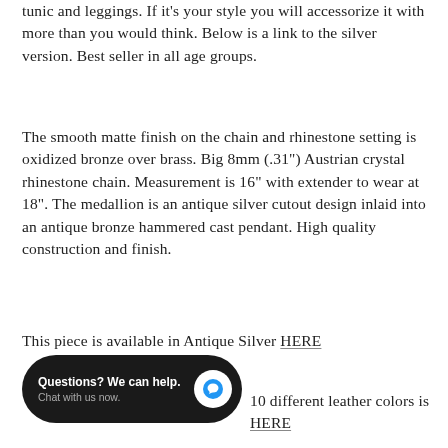tunic and leggings.  If it's your style you will accessorize it with more than you would think. Below is a link to the silver version. Best seller in all age groups.
The smooth matte finish on the chain and rhinestone setting is oxidized bronze over brass. Big 8mm (.31") Austrian crystal rhinestone chain. Measurement is 16" with extender to wear at 18". The medallion is an antique silver cutout design inlaid into an antique bronze hammered cast pendant.  High quality construction and finish.
This piece is available in Antique Silver HERE
10 different leather colors is HERE